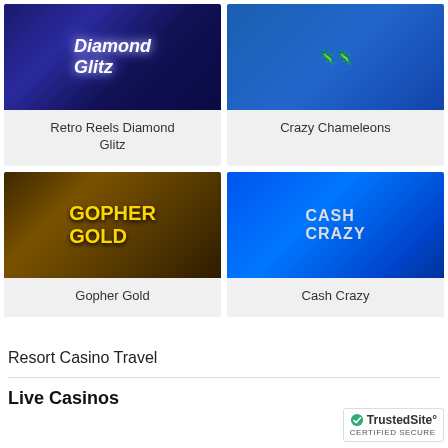[Figure (screenshot): Retro Reels Diamond Glitz slot game thumbnail - dark blue background with stylized white script text saying Diamond Glitz]
Retro Reels Diamond Glitz
[Figure (screenshot): Crazy Chameleons slot game thumbnail - blue background with cartoon chameleons]
Crazy Chameleons
[Figure (screenshot): Gopher Gold slot game thumbnail - dark brown/gold background with gold metallic 3D text GOPHER GOLD in an oval]
Gopher Gold
[Figure (screenshot): Cash Crazy slot game thumbnail - bright blue background with metallic CASH CRAZY text and wheel graphic]
Cash Crazy
Resort Casino Travel
Live Casinos